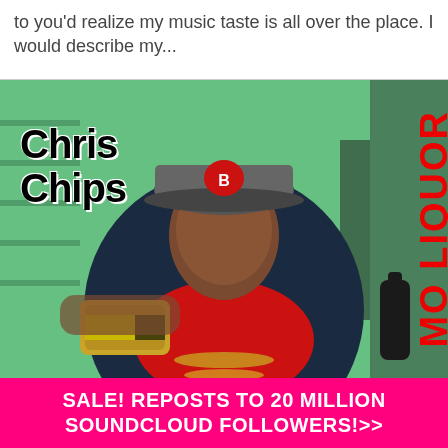to you'd realize my music taste is all over the place. I would describe my...
[Figure (photo): Promotional photo of Chris Chips, a man wearing a baseball cap and red shirt, holding a gold can, in a liquor store. Text overlays: 'Chris Chips' in stylized black script on the left, 'MO LIQUOR' in bold red vertical text on the right.]
SALE! REPOSTS TO 20 MILLION SOUNDCLOUD FOLLOWERS!>>